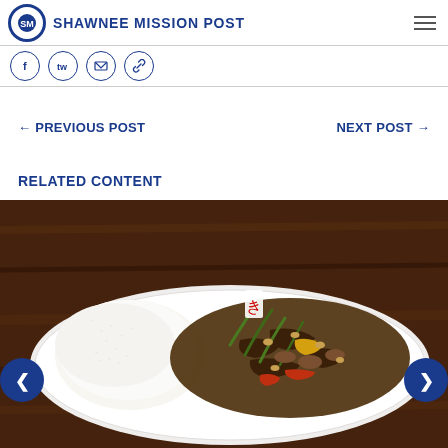Shawnee Mission Post
[Figure (screenshot): Social media share icons: Facebook, Twitter, Email, Link]
← PREVIOUS POST
NEXT POST →
RELATED CONTENT
[Figure (photo): Photo of a plate with white rice and beef stir-fry with vegetables including asparagus, peppers, mushrooms in dark sauce on a white plate, dark wood background. Navigation arrows on left and right.]